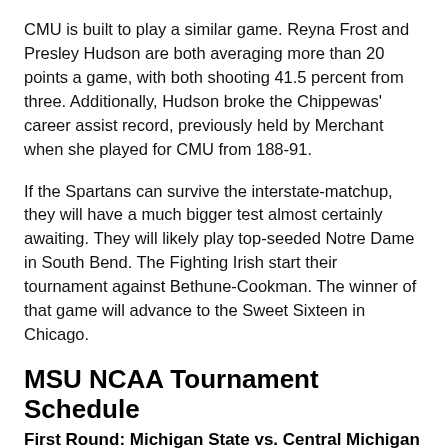CMU is built to play a similar game. Reyna Frost and Presley Hudson are both averaging more than 20 points a game, with both shooting 41.5 percent from three. Additionally, Hudson broke the Chippewas' career assist record, previously held by Merchant when she played for CMU from 188-91.
If the Spartans can survive the interstate-matchup, they will have a much bigger test almost certainly awaiting. They will likely play top-seeded Notre Dame in South Bend. The Fighting Irish start their tournament against Bethune-Cookman. The winner of that game will advance to the Sweet Sixteen in Chicago.
MSU NCAA Tournament Schedule
First Round: Michigan State vs. Central Michigan